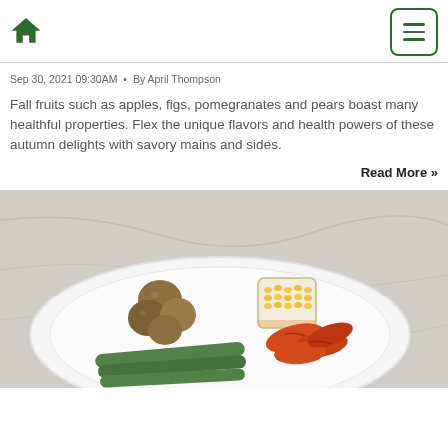Home icon and menu button navigation
Sep 30, 2021 09:30AM • By April Thompson
Fall fruits such as apples, figs, pomegranates and pears boast many healthful properties. Flex the unique flavors and health powers of these autumn delights with savory mains and sides.
Read More »
[Figure (photo): A white plate with roasted vegetables: baby potatoes, roasted carrots, asparagus spears, and a small cup of corn kernels, on a light marble surface.]